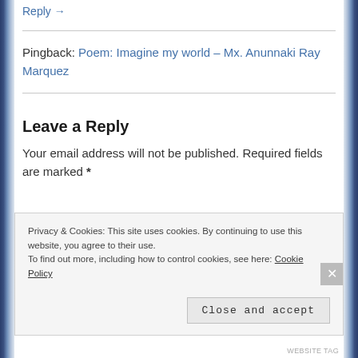Reply →
Pingback: Poem: Imagine my world – Mx. Anunnaki Ray Marquez
Leave a Reply
Your email address will not be published. Required fields are marked *
Privacy & Cookies: This site uses cookies. By continuing to use this website, you agree to their use. To find out more, including how to control cookies, see here: Cookie Policy
Close and accept